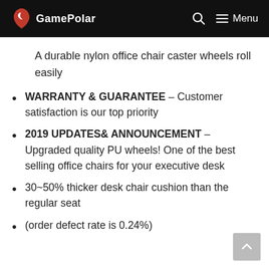GamePolar — navigation header with logo, search, and menu
A durable nylon office chair caster wheels roll easily
WARRANTY & GUARANTEE – Customer satisfaction is our top priority
2019 UPDATES& ANNOUNCEMENT – Upgraded quality PU wheels! One of the best selling office chairs for your executive desk
30~50% thicker desk chair cushion than the regular seat
(order defect rate is 0.24%)